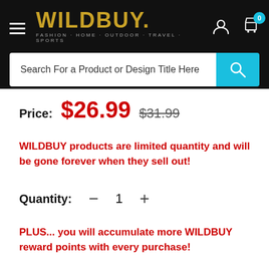WILDBUY. FASHION · HOME · OUTDOOR · TRAVEL · SPORTS
Search For a Product or Design Title Here
Price: $26.99  $31.99
WILDBUY products are limited quantity and will be gone forever when they sell out!
Quantity:  −  1  +
PLUS... you will accumulate more WILDBUY reward points with every purchase!